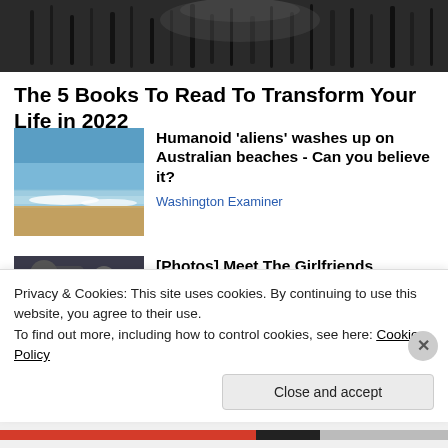[Figure (photo): Close-up black and white photo of animal fur or hair texture, cropped at top of page]
The 5 Books To Read To Transform Your Life in 2022
Blinkist
[Figure (photo): Photo of a beach with waves, blue sky, sandy shore]
Humanoid 'aliens' washes up on Australian beaches - Can you believe it?
Washington Examiner
[Figure (photo): Photo partially visible showing people in a car or similar setting]
[Photos] Meet The Girlfriends
Privacy & Cookies: This site uses cookies. By continuing to use this website, you agree to their use.
To find out more, including how to control cookies, see here: Cookie Policy
Close and accept